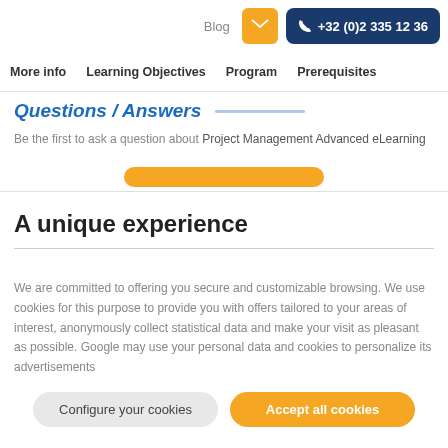Blog  +32 (0)2 335 12 36
More info  Learning Objectives  Program  Prerequisites
Questions / Answers
Be the first to ask a question about Project Management Advanced eLearning
A unique experience
We are committed to offering you secure and customizable browsing. We use cookies for this purpose to provide you with offers tailored to your areas of interest, anonymously collect statistical data and make your visit as pleasant as possible. Google may use your personal data and cookies to personalize its advertisements
Configure your cookies  Accept all cookies